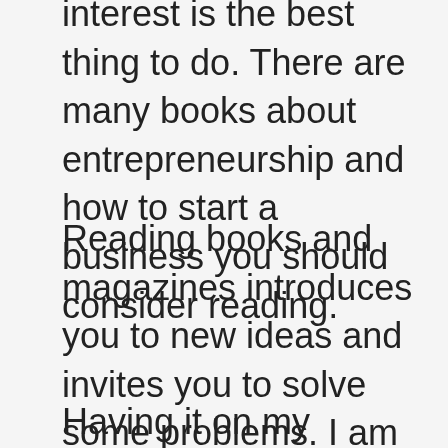interest is the best thing to do. There are many books about entrepreneurship and how to start a business you should consider reading.
Reading books and magazines introduces you to new ideas and invites you to solve some problems. I am a big fan of the Amazon Kindle Ebook.
Having it on my smartphone has